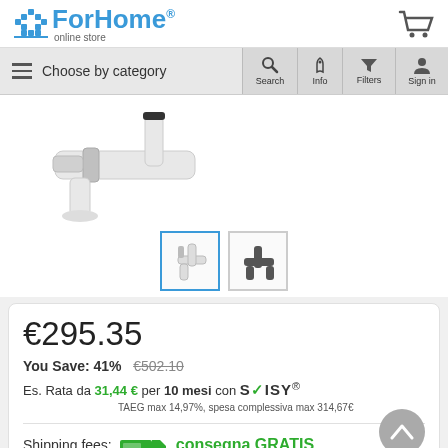[Figure (logo): ForHome online store logo with house icon]
[Figure (other): Navigation bar with hamburger menu (Choose by category), Search, Info, Filters, Sign in icons]
[Figure (photo): Product photo of a white kitchen faucet with chrome accents, partially cropped]
[Figure (other): Two product thumbnail images: first selected (white faucet, active border), second (dark faucet)]
€295.35
You Save: 41%  €502.10
Es. Rata da 31,44 € per 10 mesi con SOISY® TAEG max 14,97%, spesa complessiva max 314,67€
Shipping fees:  consegna GRATIS
(see exceptions)